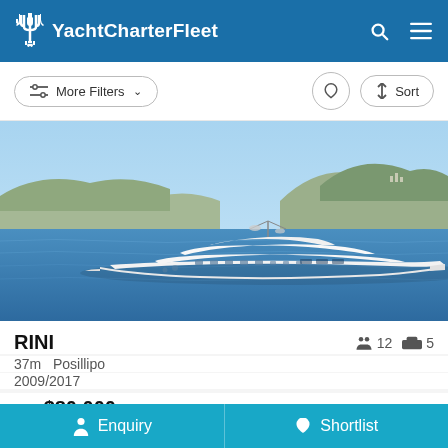YachtCharterFleet
More Filters  Sort
[Figure (photo): Aerial photo of a large white motor yacht (RINI, 37m Posillipo) cruising on blue Mediterranean water with mountainous coastline in the background]
RINI
12 guests  5 cabins
37m  Posillipo
2009/2017
from $80,000 p/w *
Enquiry  Shortlist